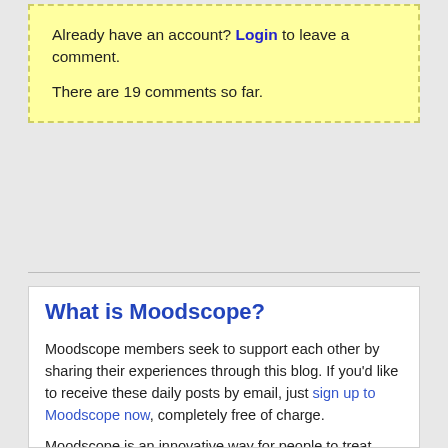Already have an account? Login to leave a comment.

There are 19 comments so far.
What is Moodscope?
Moodscope members seek to support each other by sharing their experiences through this blog. If you'd like to receive these daily posts by email, just sign up to Moodscope now, completely free of charge.
Moodscope is an innovative way for people to treat their own low mood problems using an engaging online tool. Anyone in the world can accurately assess and track daily mood scores over a period of time. We have proved that the very act of measuring, tracking and sharing mood can actually lift it. Join now.
Blog Archive